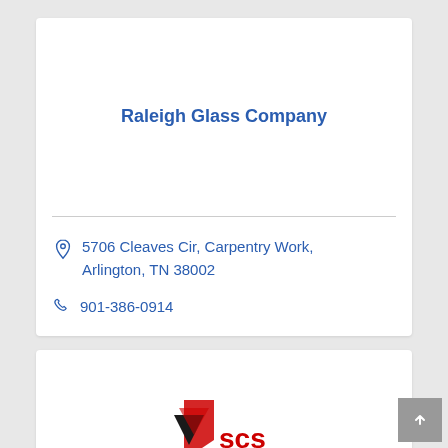Raleigh Glass Company
5706 Cleaves Cir, Carpentry Work, Arlington, TN 38002
901-386-0914
[Figure (logo): SCS company logo with red and black triangular shield icon and red text SCS]